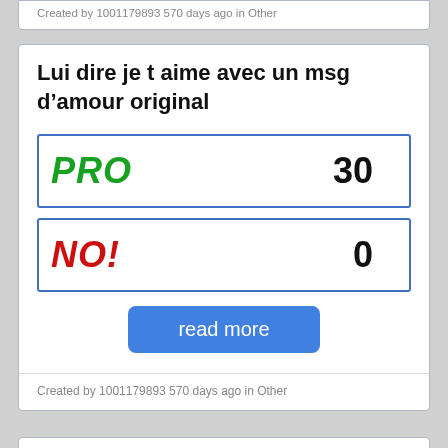Created by 1001179893 570 days ago in Other
Lui dire je t aime avec un msg d’amour original
| Label | Count |
| --- | --- |
| PRO | 30 |
| NO! | 0 |
read more
Created by 1001179893 570 days ago in Other
Dire Je t’aime à une femme avec originalité